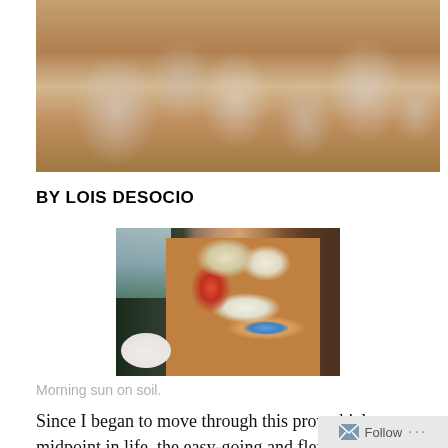[Figure (photo): Photo of multiple wine glasses and cocktail glasses on a table, with warm golden tones]
BY LOIS DESOCIO
[Figure (photo): Photo of a pile of dirty dishes, bowls, and plates by a kitchen sink with morning sunlight]
Morning sun on soil.
Since I began to move through this proverbial midpoint in life, the easy-going and flexible me has been noticing that